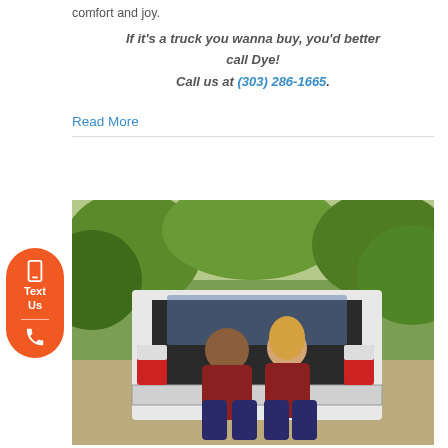comfort and joy.
If it's a truck you wanna buy, you'd better call Dye! Call us at (303) 286-1665.
Read More
[Figure (photo): A couple sitting on the tailgate of a white pickup truck parked on a road surrounded by green trees. The man has dark hair and beard wearing a plaid shirt; the woman is blonde wearing a plaid shirt. They are smiling and looking at each other.]